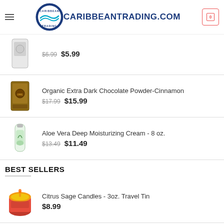[Figure (logo): CaribbeanTrading.com logo with circular wave emblem and bold navy text]
Product: (partial) $6.99 $5.99
Organic Extra Dark Chocolate Powder-Cinnamon $17.99 $15.99
Aloe Vera Deep Moisturizing Cream - 8 oz. $13.49 $11.49
BEST SELLERS
Citrus Sage Candles - 3oz. Travel Tin $8.99